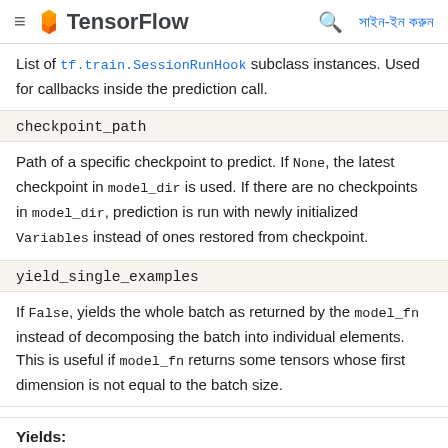TensorFlow — সাইন-ইন করুন
List of tf.train.SessionRunHook subclass instances. Used for callbacks inside the prediction call.
checkpoint_path
Path of a specific checkpoint to predict. If None, the latest checkpoint in model_dir is used. If there are no checkpoints in model_dir, prediction is run with newly initialized Variables instead of ones restored from checkpoint.
yield_single_examples
If False, yields the whole batch as returned by the model_fn instead of decomposing the batch into individual elements. This is useful if model_fn returns some tensors whose first dimension is not equal to the batch size.
Yields:
Evaluated values of predictions tensors.